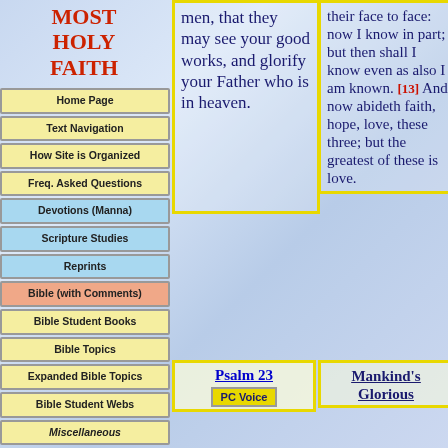MOST HOLY FAITH
Home Page
Text Navigation
How Site is Organized
Freq. Asked Questions
Devotions (Manna)
Scripture Studies
Reprints
Bible (with Comments)
Bible Student Books
Bible Topics
Expanded Bible Topics
Bible Student Webs
Miscellaneous
men, that they may see your good works, and glorify your Father who is in heaven.
their face to face: now I know in part; but then shall I know even as also I am known. [13] And now abideth faith, hope, love, these three; but the greatest of these is love.
Psalm 23
PC Voice
Mankind's Glorious